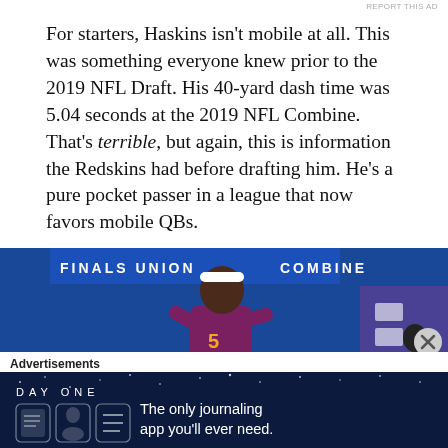REPORT THIS AD
For starters, Haskins isn't mobile at all. This was something everyone knew prior to the 2019 NFL Draft. His 40-yard dash time was 5.04 seconds at the 2019 NFL Combine. That's terrible, but again, this is information the Redskins had before drafting him. He's a pure pocket passer in a league that now favors mobile QBs.
[Figure (photo): NFL Combine photo of a quarterback wearing number 5 jersey (maroon/gold) running at the NFL Combine, blue background with NFL logos and sponsor signage.]
Advertisements
[Figure (infographic): Day One journaling app advertisement: dark blue background with stars, DAY ONE logo, three app icons, and tagline 'The only journaling app you'll ever need.']